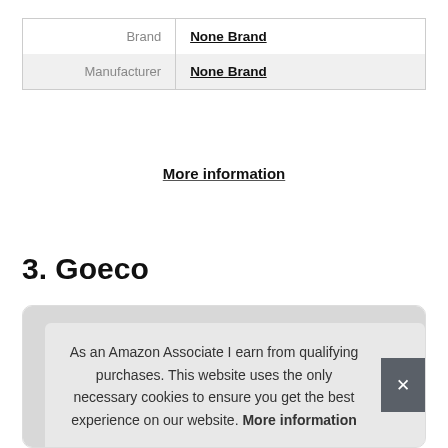|  |  |
| --- | --- |
| Brand | None Brand |
| Manufacturer | None Brand |
More information
3. Goeco
[Figure (other): Product card with gray background showing partial product image, overlaid by a cookie consent notice banner.]
As an Amazon Associate I earn from qualifying purchases. This website uses the only necessary cookies to ensure you get the best experience on our website. More information